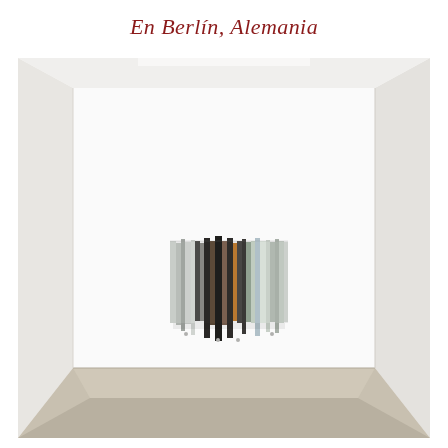En Berlín, Alemania
[Figure (photo): Gallery installation photo showing a minimal white room with concrete floor and a striped/barcode-like artwork mounted on the back wall at center height. The artwork consists of vertical strips of varying colors including grey, black, brown, blue, green, and white tones.]